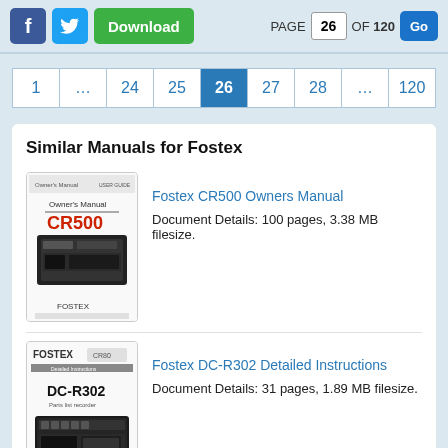PAGE 26 OF 120
Similar Manuals for Fostex
Fostex CR500 Owners Manual
Document Details: 100 pages, 3.38 MB filesize.
Fostex DC-R302 Detailed Instructions
Document Details: 31 pages, 1.89 MB filesize.